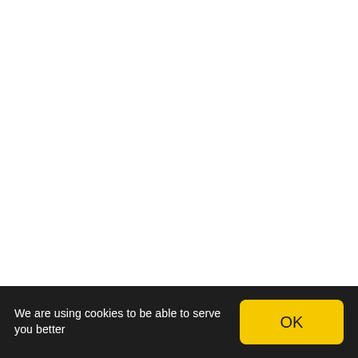We are using cookies to be able to serve you better
OK